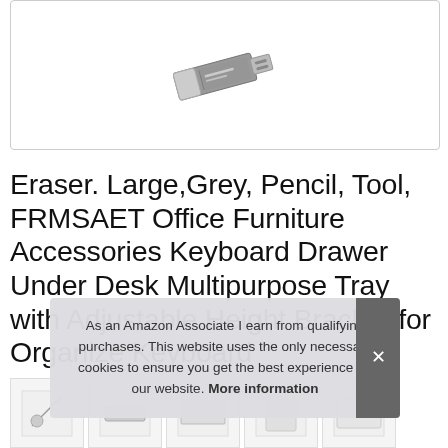[Figure (photo): Product image of an eraser/USB device shown partially at top of the image box]
Eraser. Large,Grey, Pencil, Tool, FRMSAET Office Furniture Accessories Keyboard Drawer Under Desk Multipurpose Tray with Adjustable Height Bracket-for Organize Keyboard
As an Amazon Associate I earn from qualifying purchases. This website uses the only necessary cookies to ensure you get the best experience on our website. More information